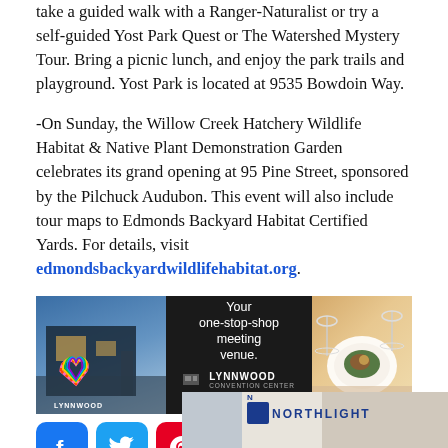take a guided walk with a Ranger-Naturalist or try a self-guided Yost Park Quest or The Watershed Mystery Tour. Bring a picnic lunch, and enjoy the park trails and playground. Yost Park is located at 9535 Bowdoin Way.
-On Sunday, the Willow Creek Hatchery Wildlife Habitat & Native Plant Demonstration Garden celebrates its grand opening at 95 Pine Street, sponsored by the Pilchuck Audubon. This event will also include tour maps to Edmonds Backyard Habitat Certified Yards. For details, visit edmondsbackyardwildlifehabitat.org.
[Figure (illustration): Lynnwood Convention Center advertisement banner showing a building exterior on the left, a dark center panel with text 'Your one-stop-shop meeting venue.' and a LEARN MORE button, and a dining table setting on the right.]
[Figure (infographic): Social media sharing icons: Facebook (blue), Twitter (blue), Pinterest (red), LinkedIn (blue), and a share/add button (blue)]
[Figure (logo): Neighborhood News Network circular logo in bottom right]
[Figure (illustration): Partial bottom ad for NorthLight showing a building interior with a blue NorthLight logo/text]